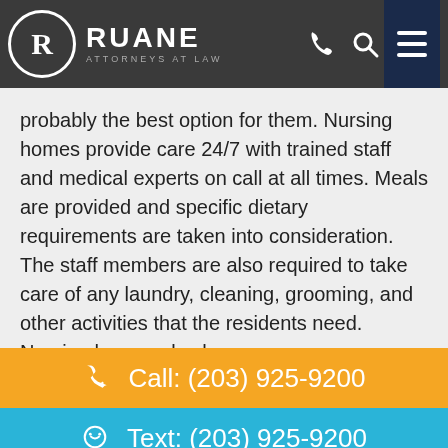RUANE ATTORNEYS AT LAW
probably the best option for them. Nursing homes provide care 24/7 with trained staff and medical experts on call at all times. Meals are provided and specific dietary requirements are taken into consideration. The staff members are also required to take care of any laundry, cleaning, grooming, and other activities that the residents need. Nursing homes also have many
Call: (203) 925-9200
Text: (203) 925-9200